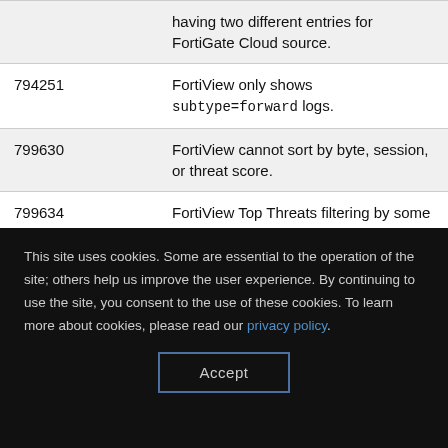| Bug ID | Description |
| --- | --- |
|  | having two different entries for FortiGate Cloud source. |
| 794251 | FortiView only shows subtype=forward logs. |
| 799630 | FortiView cannot sort by byte, session, or threat score. |
| 799634 | FortiView Top Threats filtering by some threat types/categories does not work for Cloud source. |
This site uses cookies. Some are essential to the operation of the site; others help us improve the user experience. By continuing to use the site, you consent to the use of these cookies. To learn more about cookies, please read our privacy policy.